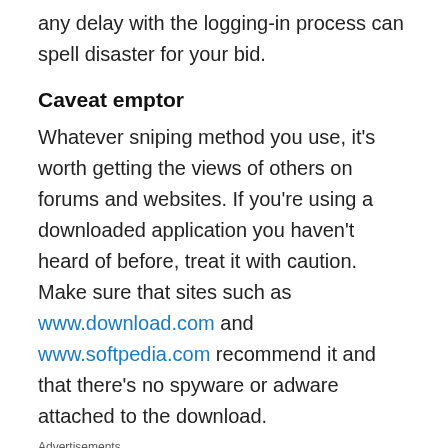any delay with the logging-in process can spell disaster for your bid.
Caveat emptor
Whatever sniping method you use, it's worth getting the views of others on forums and websites. If you're using a downloaded application you haven't heard of before, treat it with caution. Make sure that sites such as www.download.com and www.softpedia.com recommend it and that there's no spyware or adware attached to the download.
Advertisements
[Figure (illustration): Red advertisement banner for a listener app, featuring a smartphone with 'Dis-trib-ed' text and the tagline 'An app by listeners, for listeners.' in white bold text on a red background.]